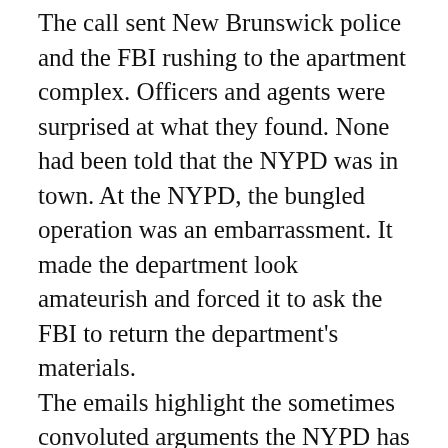The call sent New Brunswick police and the FBI rushing to the apartment complex. Officers and agents were surprised at what they found. None had been told that the NYPD was in town. At the NYPD, the bungled operation was an embarrassment. It made the department look amateurish and forced it to ask the FBI to return the department's materials. The emails highlight the sometimes convoluted arguments the NYPD has used to justify its out-of-state activities, which have been criticized by New Jersey Gov. Chris Christie and some members of Congress. The NYPD has infiltrated and photographed Muslim businesses and mosques in New Jersey, monitored the Internet postings of Muslim college students across the Northeast and